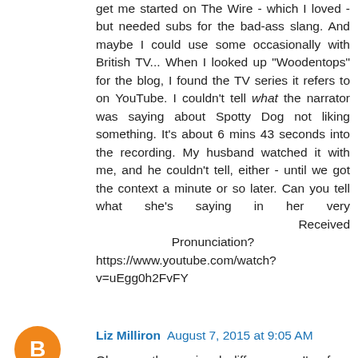get me started on The Wire - which I loved - but needed subs for the bad-ass slang. And maybe I could use some occasionally with British TV... When I looked up "Woodentops" for the blog, I found the TV series it refers to on YouTube. I couldn't tell what the narrator was saying about Spotty Dog not liking something. It's about 6 mins 43 seconds into the recording. My husband watched it with me, and he couldn't tell, either - until we got the context a minute or so later. Can you tell what she's saying in her very Received Pronunciation? https://www.youtube.com/watch?v=uEgg0h2FvFY
Reply
Liz Milliron  August 7, 2015 at 9:05 AM
Oh yes, the regional differences. I'm from Buffalo, but live in Pittsburgh. The first time someone asked, "Do you want me to ride you over?" I was appropriately perplexed. The also tend to drop pronouns in The 'Burgh - "Can I get a ride with?" instead of "Can I get a ride with you?"
We call it pop in Western Pennsylvania and Western New